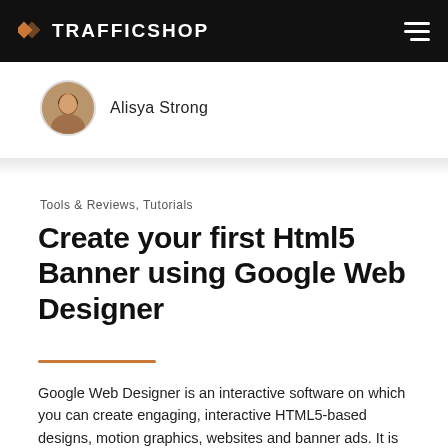TRAFFICSHOP
[Figure (photo): Circular avatar photo of Alisya Strong, a woman with dark hair]
Alisya Strong
Tools & Reviews, Tutorials
Create your first Html5 Banner using Google Web Designer
Google Web Designer is an interactive software on which you can create engaging, interactive HTML5-based designs, motion graphics, websites and banner ads. It is